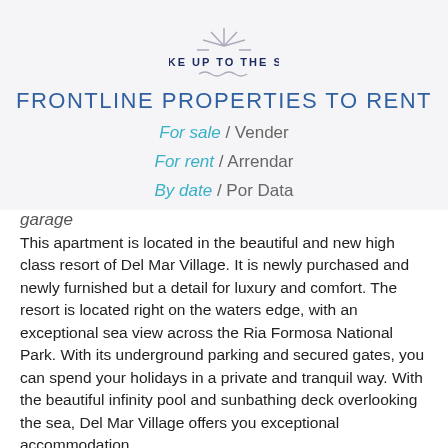[Figure (logo): Wake Up to the Sea logo with sun rays and wave lines]
FRONTLINE PROPERTIES TO RENT
For sale / Vender
For rent / Arrendar
By date / Por Data
garage
This apartment is located in the beautiful and new high class resort of Del Mar Village. It is newly purchased and newly furnished but a detail for luxury and comfort. The resort is located right on the waters edge, with an exceptional sea view across the Ria Formosa National Park. With its underground parking and secured gates, you can spend your holidays in a private and tranquil way. With the beautiful infinity pool and sunbathing deck overlooking the sea, Del Mar Village offers you exceptional accommodation.
The apartment is located at ground floor level.